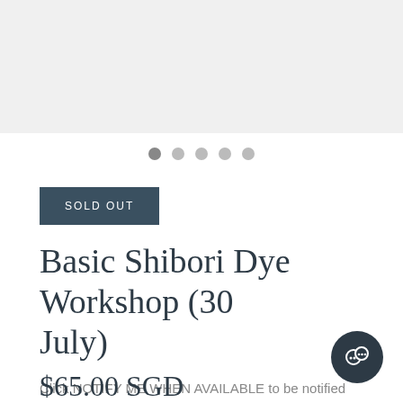[Figure (other): Light gray image placeholder area for product photo slideshow]
[Figure (other): Slideshow navigation dots: 5 dots, first one dark/active, rest light gray]
SOLD OUT
Basic Shibori Dye Workshop (30 July)
Click NOTIFY ME WHEN AVAILABLE to be notified by email when Basic Shibori Dye Workshop (30 July) becomes available.
[Figure (other): Dark circular chat button icon in bottom right corner]
$65.00 SGD